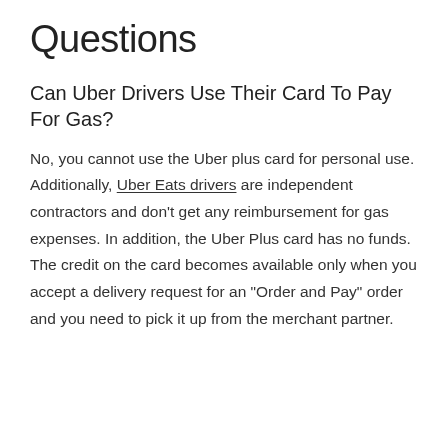Questions
Can Uber Drivers Use Their Card To Pay For Gas?
No, you cannot use the Uber plus card for personal use. Additionally, Uber Eats drivers are independent contractors and don't get any reimbursement for gas expenses. In addition, the Uber Plus card has no funds. The credit on the card becomes available only when you accept a delivery request for an "Order and Pay" order and you need to pick it up from the merchant partner.